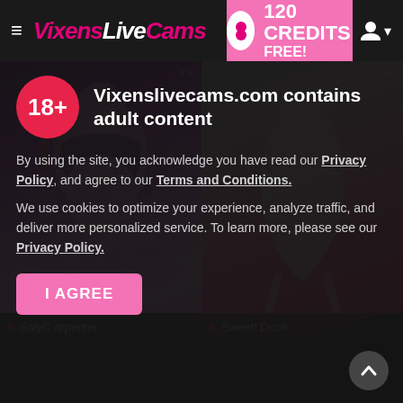VixensLiveCams — 120 CREDITS FREE!
[Figure (screenshot): Two-panel photo grid showing two female webcam performers. Left panel has purple/pink lighting. Right panel has pink/magenta lighting. Name bars at bottom: 'SalyC arpenter' (left) and 'Sweett Dooll' (right).]
[Figure (infographic): Age verification overlay with 18+ badge, adult content warning, privacy policy links, cookie notice, and I AGREE button.]
Vixenslivecams.com contains adult content
By using the site, you acknowledge you have read our Privacy Policy, and agree to our Terms and Conditions.
We use cookies to optimize your experience, analyze traffic, and deliver more personalized service. To learn more, please see our Privacy Policy.